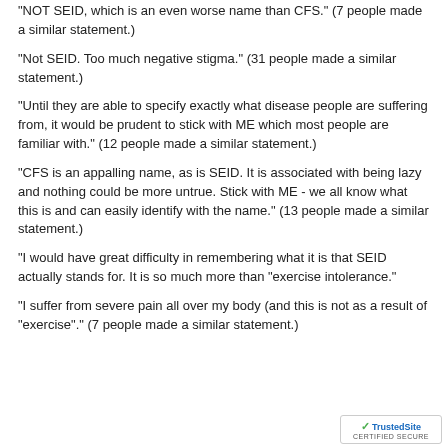"NOT SEID, which is an even worse name than CFS." (7 people made a similar statement.)
"Not SEID. Too much negative stigma." (31 people made a similar statement.)
"Until they are able to specify exactly what disease people are suffering from, it would be prudent to stick with ME which most people are familiar with." (12 people made a similar statement.)
"CFS is an appalling name, as is SEID. It is associated with being lazy and nothing could be more untrue. Stick with ME - we all know what this is and can easily identify with the name." (13 people made a similar statement.)
"I would have great difficulty in remembering what it is that SEID actually stands for. It is so much more than "exercise intolerance."
"I suffer from severe pain all over my body (and this is not as a result of "exercise"." (7 people made a similar statement.)